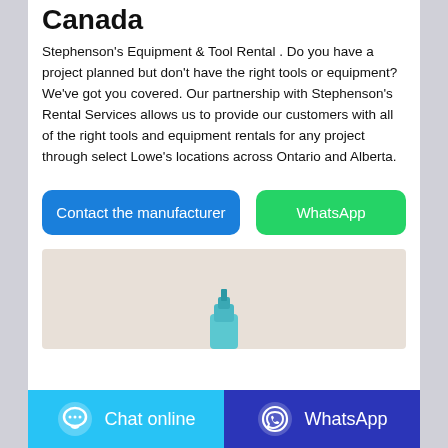Canada
Stephenson's Equipment & Tool Rental . Do you have a project planned but don't have the right tools or equipment? We've got you covered. Our partnership with Stephenson's Rental Services allows us to provide our customers with all of the right tools and equipment rentals for any project through select Lowe's locations across Ontario and Alberta.
[Figure (screenshot): Two action buttons: 'Contact the manufacturer' (blue) and 'WhatsApp' (green)]
[Figure (photo): Product image with light beige background showing a small teal/blue tool or equipment nozzle]
[Figure (screenshot): Bottom bar with 'Chat online' button (light blue) and 'WhatsApp' button (dark blue)]